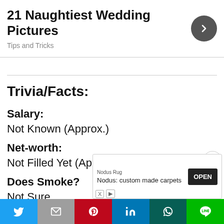21 Naughtiest Wedding Pictures
Tips and Tricks
Trivia/Facts:
Salary:
Not Known (Approx.)
Net-worth:
Not Filled Yet (Approx.)
Does Smoke?
Not Sure
[Figure (screenshot): Advertisement banner for Nodus Rug - Nodus: custom made carpets with OPEN button]
Social share bar: Twitter, Gmail, Pinterest, LinkedIn, WhatsApp, Line